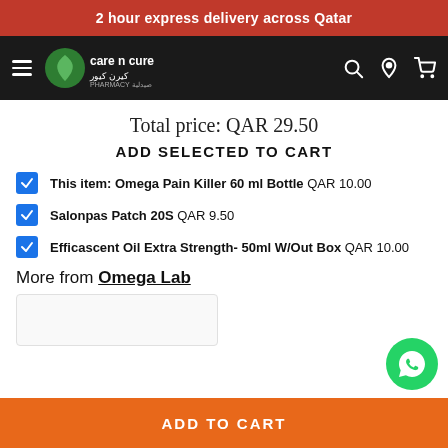2 hour express delivery across Qatar
[Figure (logo): Care N Cure Pharmacy logo with green leaf icon and Arabic/English text on dark background navbar]
Total price: QAR 29.50
ADD SELECTED TO CART
This item: Omega Pain Killer 60 ml Bottle  QAR 10.00
Salonpas Patch 20S  QAR 9.50
Efficascent Oil Extra Strength- 50ml W/Out Box  QAR 10.00
More from Omega Lab
[Figure (screenshot): Empty product card placeholder]
[Figure (logo): WhatsApp green circular button]
ADD TO CART